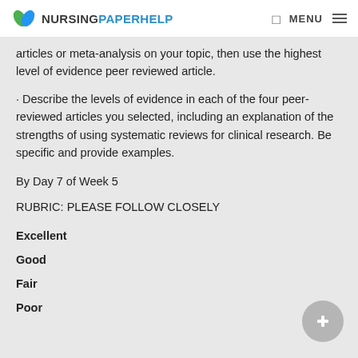NURSINGPAPERHELP | MENU
articles or meta-analysis on your topic, then use the highest level of evidence peer reviewed article.
· Describe the levels of evidence in each of the four peer-reviewed articles you selected, including an explanation of the strengths of using systematic reviews for clinical research. Be specific and provide examples.
By Day 7 of Week 5
RUBRIC: PLEASE FOLLOW CLOSELY
Excellent
Good
Fair
Poor